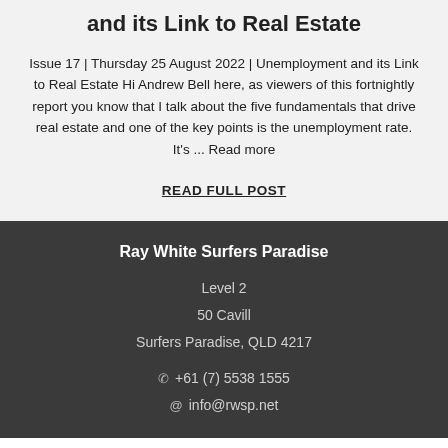and its Link to Real Estate
Issue 17 | Thursday 25 August 2022 | Unemployment and its Link to Real Estate Hi Andrew Bell here, as viewers of this fortnightly report you know that I talk about the five fundamentals that drive real estate and one of the key points is the unemployment rate. It's ... Read more
READ FULL POST
Ray White Surfers Paradise
Level 2
50 Cavill
Surfers Paradise, QLD 4217
+61 (7) 5538 1555
info@rwsp.net